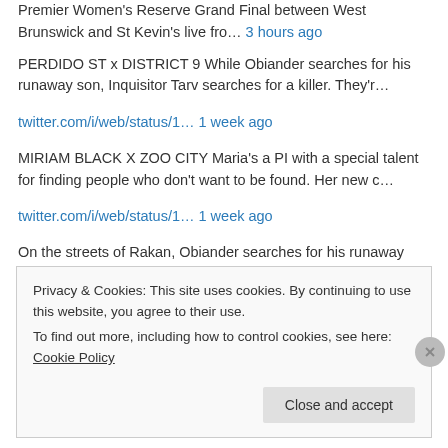Premier Women's Reserve Grand Final between West Brunswick and St Kevin's live fro… 3 hours ago
PERDIDO ST x DISTRICT 9 While Obiander searches for his runaway son, Inquisitor Tarv searches for a killer. They'r… twitter.com/i/web/status/1… 1 week ago
MIRIAM BLACK X ZOO CITY Maria's a PI with a special talent for finding people who don't want to be found. Her new c… twitter.com/i/web/status/1… 1 week ago
On the streets of Rakan, Obiander searches for his runaway son, while Inquisitor Tarv searches for a killer. They'r… twitter.com/i/web/status/1… 1 week ago
Privacy & Cookies: This site uses cookies. By continuing to use this website, you agree to their use. To find out more, including how to control cookies, see here: Cookie Policy
Close and accept